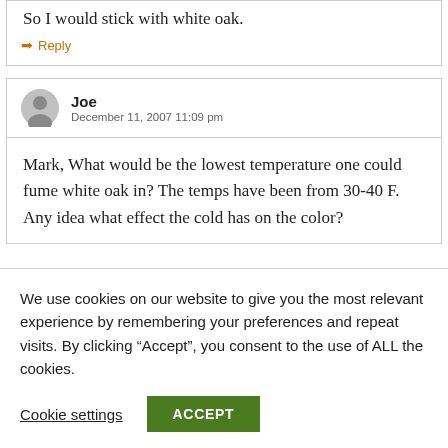So I would stick with white oak.
Reply
Joe
December 11, 2007 11:09 pm
Mark, What would be the lowest temperature one could fume white oak in? The temps have been from 30-40 F. Any idea what effect the cold has on the color?
We use cookies on our website to give you the most relevant experience by remembering your preferences and repeat visits. By clicking “Accept”, you consent to the use of ALL the cookies.
Cookie settings
ACCEPT